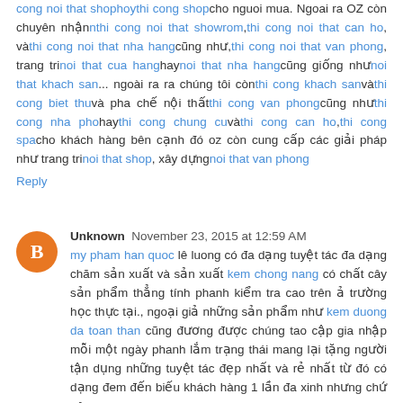cong noi that shophoythi cong shopcno nguoi mua. Ngoai ra OZ còn chuyên nhậnnthi cong noi that showrom,thi cong noi that can ho, vàthi cong noi that nha hangcũng như,thi cong noi that van phong, trang trinoi that cua hanghaynoi that nha hangcũng giống nhưnoi that khach san... ngoài ra ra chúng tôi cònthi cong khach sanvàthi cong biet thuvà pha chế nội thấtthi cong van phongcũng nhưthi cong nha phohaythi cong chung cuvathi cong can ho,thi cong spacho khách hàng bên cạnh đó oz còn cung cấp các giải pháp như trang trinoi that shop, xây dựngnoi that van phong
Reply
Unknown  November 23, 2015 at 12:59 AM
my pham han quoc lê luong có đa dạng tuyệt tác đa dạng chăm sản xuất và sản xuất kem chong nang có chất cây sản phẩm thẳng tính phanh kiểm tra cao trên ả trường học thực tại., ngoại giả những sản phẩm như kem duong da toan than cũng đương được chúng tao cập gia nhập mỗi một ngày phanh lắm trạng thái mang lại tặng người tận dụng những tuyệt tác đẹp nhất và rẻ nhất từ đó có dạng đem đến biếu khách hàng 1 lần đa xinh nhưng chứ nên